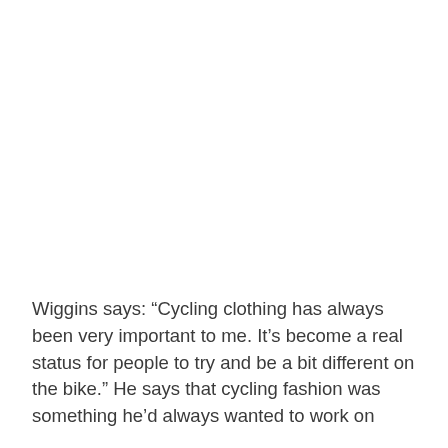Wiggins says: “Cycling clothing has always been very important to me. It’s become a real status for people to try and be a bit different on the bike.” He says that cycling fashion was something he’d always wanted to work on